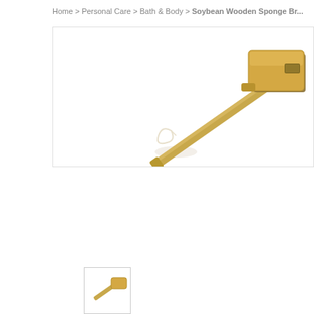Home > Personal Care > Bath & Body > Soybean Wooden Sponge Br...
[Figure (photo): A wooden-handled bath brush with a tan/beige rectangular sponge head, shown diagonally against a white background. A small hanging loop made of white cord is visible near the handle.]
[Figure (photo): Thumbnail of the same soybean wooden sponge brush product]